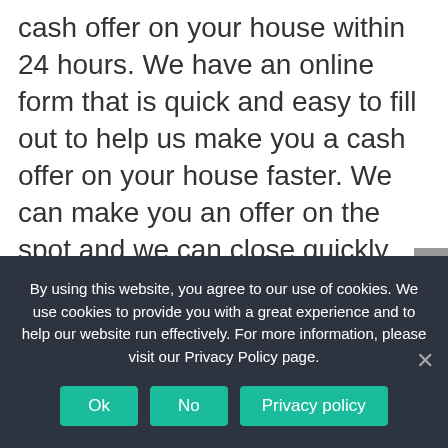cash offer on your house within 24 hours. We have an online form that is quick and easy to fill out to help us make you a cash offer on your house faster. We can make you an offer on the spot and we can close quickly. You've got nothing to lose and we never share your information. Click here to request your free, all-cash offer on your property! We buy homes in less than 30 days. Sell your house
By using this website, you agree to our use of cookies. We use cookies to provide you with a great experience and to help our website run effectively. For more information, please visit our Privacy Policy page.